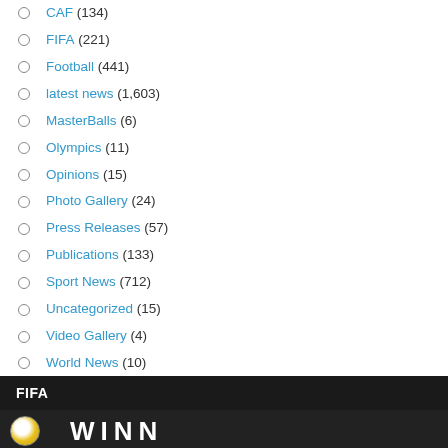CAF (134)
FIFA (221)
Football (441)
latest news (1,603)
MasterBalls (6)
Olympics (11)
Opinions (15)
Photo Gallery (24)
Press Releases (57)
Publications (133)
Sport News (712)
Uncategorized (15)
Video Gallery (4)
World News (10)
FIFA
[Figure (photo): Partial image showing 'WINNERS' text banner]